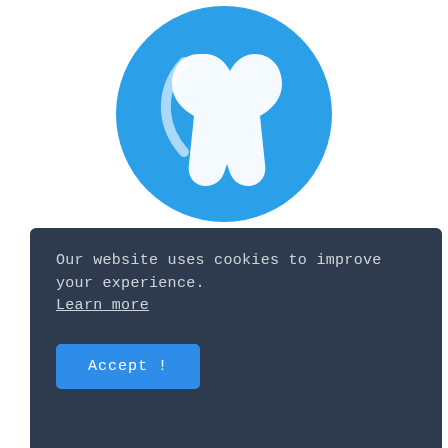[Figure (logo): Round blue circle logo with white stylized letter/icon inside, for BasicSoftwareCrack.com]
BasicSoftwareCrack.com
Update Your iPhone Experience with More Possibilities. Open more prospects in overseeing and moving your iPhone, iPad, iPod, even iTunes and iCloud content. Experience a simpler and more joyful I-Life now. AnyTrans breaks the sync limits to bring you full-way move across
Our website uses cookies to improve your experience. Learn more
Accept !
Be The Master of Your Music